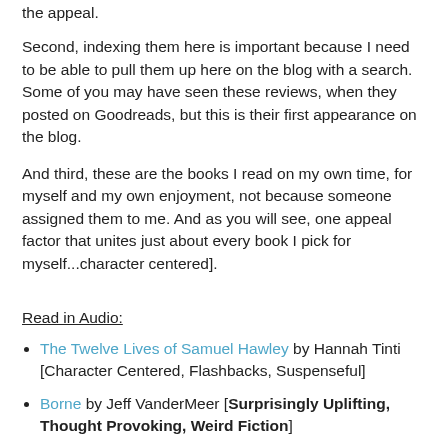the appeal.
Second, indexing them here is important because I need to be able to pull them up here on the blog with a search. Some of you may have seen these reviews, when they posted on Goodreads, but this is their first appearance on the blog.
And third, these are the books I read on my own time, for myself and my own enjoyment, not because someone assigned them to me. And as you will see, one appeal factor that unites just about every book I pick for myself...character centered].
Read in Audio:
The Twelve Lives of Samuel Hawley by Hannah Tinti [Character Centered, Flashbacks, Suspenseful]
Borne by Jeff VanderMeer [Surprisingly Uplifting, Thought Provoking, Weird Fiction]
Manhattan Beach by Jennifer Egan [History From Female POV, Richly Detailed, Character